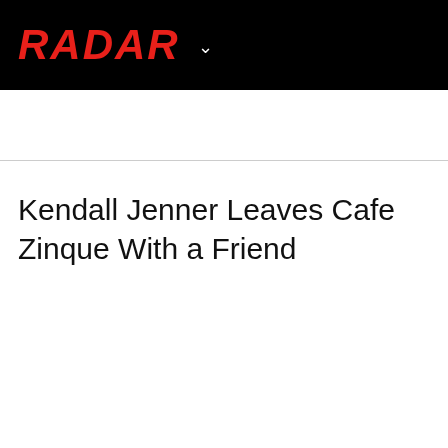RADAR
Kendall Jenner Leaves Cafe Zinque With a Friend